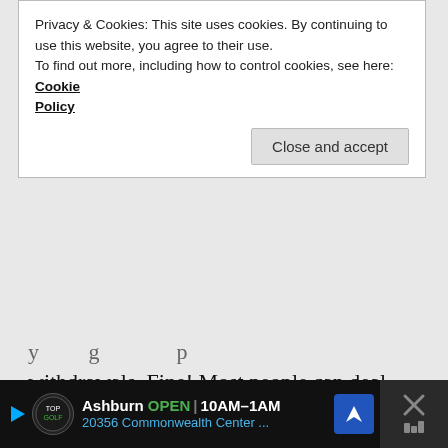Privacy & Cookies: This site uses cookies. By continuing to use this website, you agree to their use. To find out more, including how to control cookies, see here: Cookie Policy
Close and accept
withdrawals. Fine! Most people can deal with that, at least for a few years. Cut expenses, maybe get a side gig, move to a country with lower living expenses and/or defer some expenses such as replacing durable items. Surely, we can all be that flexible for a year or two, or maybe even five.
Ashburn OPEN 10AM–1AM 20356 Commonwealth Center ...